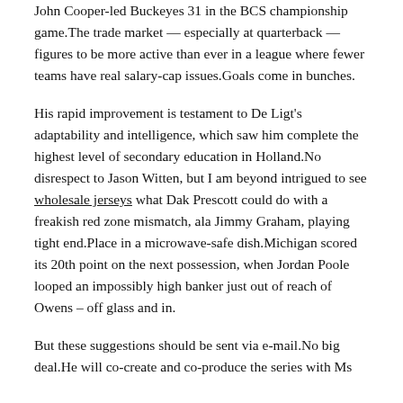John Cooper-led Buckeyes 31 in the BCS championship game.The trade market — especially at quarterback — figures to be more active than ever in a league where fewer teams have real salary-cap issues.Goals come in bunches.
His rapid improvement is testament to De Ligt's adaptability and intelligence, which saw him complete the highest level of secondary education in Holland.No disrespect to Jason Witten, but I am beyond intrigued to see wholesale jerseys what Dak Prescott could do with a freakish red zone mismatch, ala Jimmy Graham, playing tight end.Place in a microwave-safe dish.Michigan scored its 20th point on the next possession, when Jordan Poole looped an impossibly high banker just out of reach of Owens – off glass and in.
But these suggestions should be sent via e-mail.No big deal.He will co-create and co-produce the series with Ms